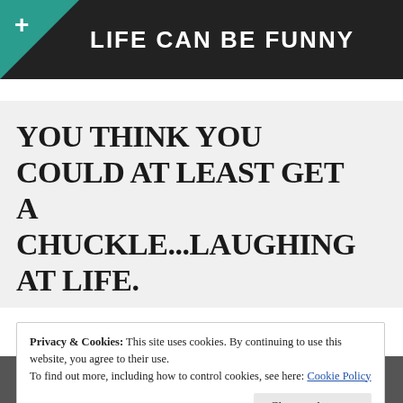LIFE CAN BE FUNNY
YOU THINK YOU COULD AT LEAST GET A CHUCKLE...LAUGHING AT LIFE.
Privacy & Cookies: This site uses cookies. By continuing to use this website, you agree to their use.
To find out more, including how to control cookies, see here: Cookie Policy
Close and accept
[Figure (photo): Bottom portion of a photo, partially visible]